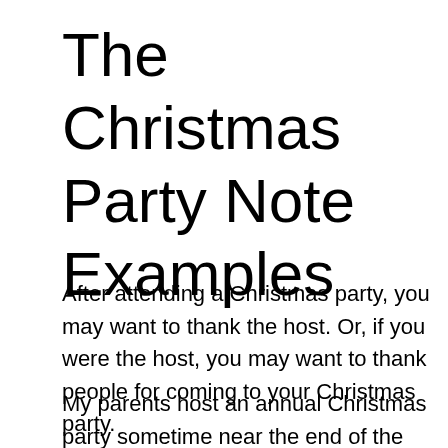The Christmas Party Note Examples
After attending a Christmas party, you may want to thank the host. Or, if you were the host, you may want to thank people for coming to your Christmas party.
My parents host an annual Christmas party sometime near the end of the year. It's not always on Christmas Day. They try to